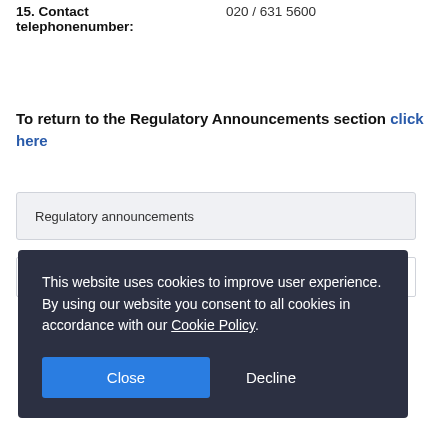15. Contact telephonenumber:    020 / 631 5600
To return to the Regulatory Announcements section click here
Regulatory announcements
Investor alert
This website uses cookies to improve user experience. By using our website you consent to all cookies in accordance with our Cookie Policy.
Close
Decline